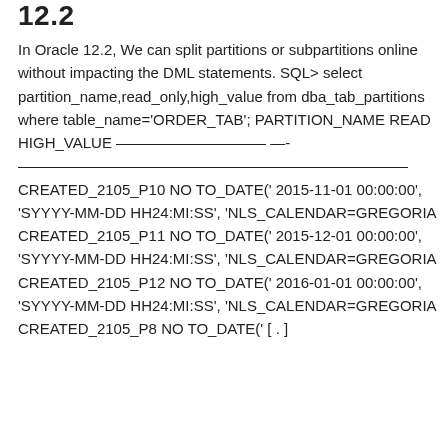12.2
In Oracle 12.2, We can split partitions or subpartitions online without impacting the DML statements. SQL> select partition_name,read_only,high_value from dba_tab_partitions where table_name='ORDER_TAB'; PARTITION_NAME READ HIGH_VALUE —————————— —- —————————————————————————— CREATED_2105_P10 NO TO_DATE(' 2015-11-01 00:00:00', 'SYYYY-MM-DD HH24:MI:SS', 'NLS_CALENDAR=GREGORIA CREATED_2105_P11 NO TO_DATE(' 2015-12-01 00:00:00', 'SYYYY-MM-DD HH24:MI:SS', 'NLS_CALENDAR=GREGORIA CREATED_2105_P12 NO TO_DATE(' 2016-01-01 00:00:00', 'SYYYY-MM-DD HH24:MI:SS', 'NLS_CALENDAR=GREGORIA CREATED_2105_P8 NO TO_DATE(' [ . ]